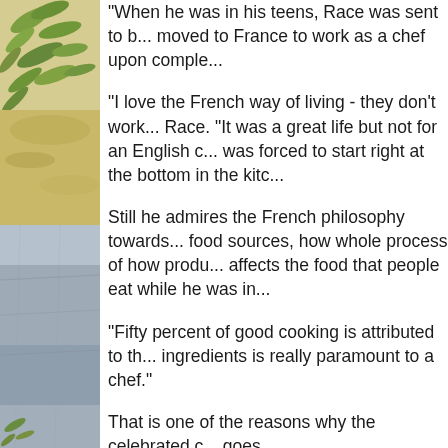[Figure (photo): Left side strip: top half shows green herb leaves and sandy/yellow background (food/herb photography). Bottom half shows a grey stone or slate surface (food styling background).]
"When he was in his teens, Race was sent to b... moved to France to work as a chef upon comple...
"I love the French way of living - they don't work... Race. "It was a great life but not for an English c... was forced to start right at the bottom in the kito...
Still he admires the French philosophy towards... food sources, how whole process of how produ... affects the food that people eat while he was in...
"Fifty percent of good cooking is attributed to th... ingredients is really paramount to a chef."
That is one of the reasons why the celebrated c... goes.
"It doesn't make sense to use seabass that was... I'd be replacing the seabass in my recipe with th...